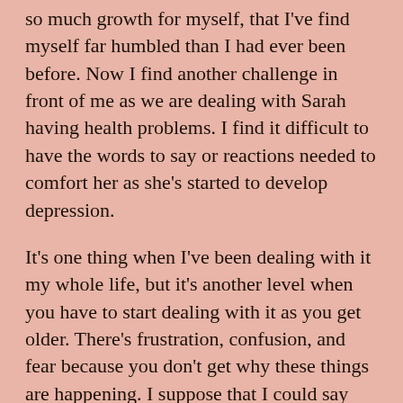so much growth for myself, that I've find myself far humbled than I had ever been before. Now I find another challenge in front of me as we are dealing with Sarah having health problems. I find it difficult to have the words to say or reactions needed to comfort her as she's started to develop depression.

It's one thing when I've been dealing with it my whole life, but it's another level when you have to start dealing with it as you get older. There's frustration, confusion, and fear because you don't get why these things are happening. I suppose that I could say that things will get better, but until things are answered about what is wrong, I can't say that honestly, because there's too many unknowns. The only thing I can guarantee is that I'm here to support her no matter what. I think that helps. but I haven't been feeling very helpful towards her lately.